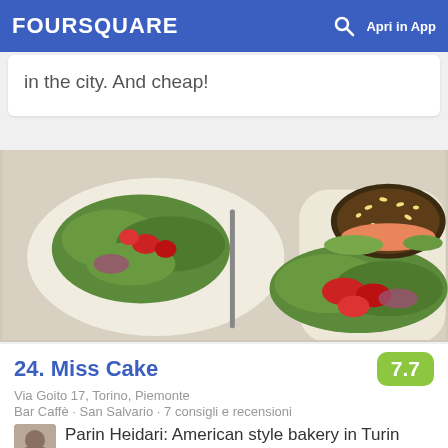FOURSQUARE  🔍  Apri in App
in the city. And cheap!
[Figure (photo): Two white plates of food on a table: left plate has a green salad with cherry tomatoes and red onion; right plate has a seeded bagel sandwich with salmon, lettuce, tomatoes and red onion.]
24. Miss Cake
Via Goito 17, Torino, Piemonte
Bar Caffè · San Salvario · 7 consigli e recensioni
Parin Heidari: American style bakery in Turin with a very good brunch in the weekend